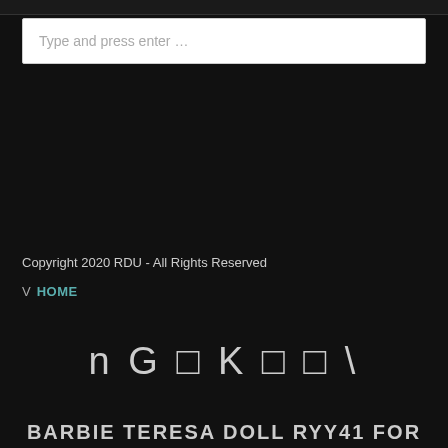[Figure (screenshot): Top navigation bar strip at the top of the page]
Type and press enter …
Copyright 2020 RDU - All Rights Reserved
V  HOME
n G □ K □ □ \
BARBIE TERESA DOLL RYY41 FOR